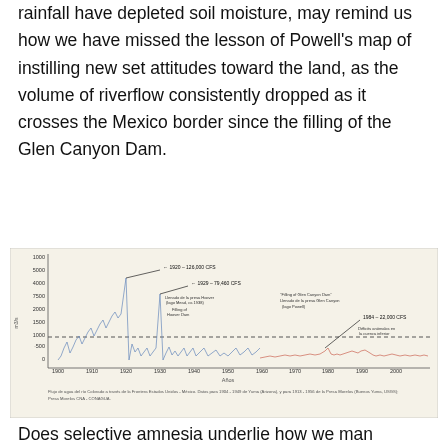rainfall have depleted soil moisture, may remind us how we have missed the lesson of Powell's map of instilling new set attitudes toward the land, as the volume of riverflow consistently dropped as it crosses the Mexico border since the filling of the Glen Canyon Dam.
[Figure (continuous-plot): Time series chart of Colorado River flow at the US-Mexico border from ~1900 to 2000, showing peak flow of 126,000 CFS in 1920, 79,460 CFS in 1929, and 22,000 CFS in 1984, with annotations marking the filling of Glen Canyon Dam and a dashed horizontal reference line around 10,000 CFS. Chart includes Spanish caption about data sources.]
Does selective amnesia underlie how we man...